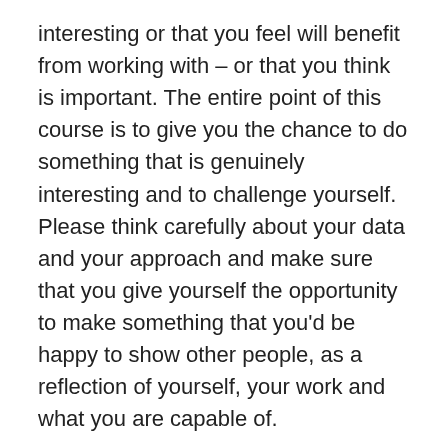interesting or that you feel will benefit from working with – or that you think is important. The entire point of this course is to give you the chance to do something that is genuinely interesting and to challenge yourself. Please think carefully about your data and your approach and make sure that you give yourself the opportunity to make something that you'd be happy to show other people, as a reflection of yourself, your work and what you are capable of.
END OF THE PITCH DESCRIPTION
We then had a session where we discussed ideas, looked at sources and started to think about how we could get some ideas to build a pitch on. I used small group formation and a bit of role switching and, completely unsurprisingly to the rest of you social constructivists, not